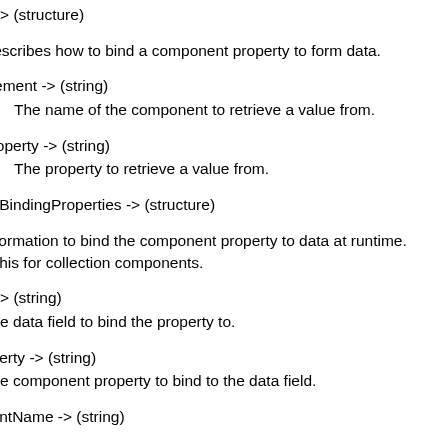e -> (structure)
Describes how to bind a component property to form data.
element -> (string)
The name of the component to retrieve a value from.
property -> (string)
The property to retrieve a value from.
onBindingProperties -> (structure)
information to bind the component property to data at runtime.
e this for collection components.
d -> (string)
The data field to bind the property to.
operty -> (string)
The component property to bind to the data field.
nentName -> (string)